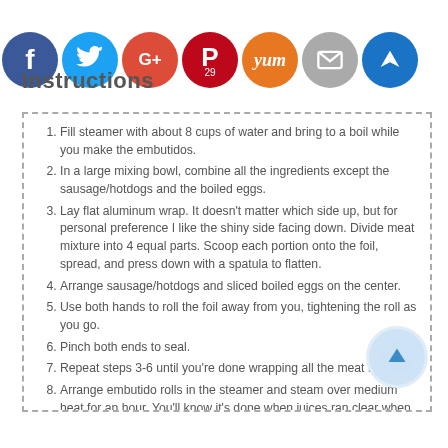[Figure (infographic): Row of social media share buttons: Facebook (blue), Twitter (light blue), Google+ (red), Pinterest (dark red, 29), Yummly (orange), Email/Mail (gray), Crown/bookmark (blue)]
Instructions
Fill steamer with about 8 cups of water and bring to a boil while you make the embutidos.
In a large mixing bowl, combine all the ingredients except the sausage/hotdogs and the boiled eggs.
Lay flat aluminum wrap. It doesn't matter which side up, but for personal preference I like the shiny side facing down. Divide meat mixture into 4 equal parts. Scoop each portion onto the foil, spread, and press down with a spatula to flatten.
Arrange sausage/hotdogs and sliced boiled eggs on the center.
Use both hands to roll the foil away from you, tightening the roll as you go.
Pinch both ends to seal.
Repeat steps 3-6 until you're done wrapping all the meat mixture.
Arrange embutido rolls in the steamer and steam over medium heat for an hour. You'll know it's done when juices ran clear when you prick the rolls with the tip of a knife.
Remove from steamer and allow to cool. Refrigerate for at least 2 hours (overnight much better) for easy slicing.
Unwrap foil, slice to desired thickness, and serve with ketchup or your favorite dipping sauce.